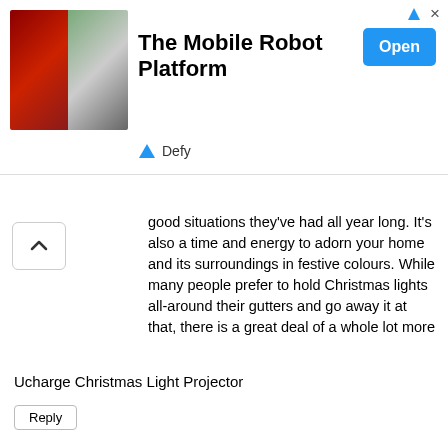[Figure (infographic): Advertisement banner for 'The Mobile Robot Platform' by Defy, showing two robot images on the left, title text in center, and a blue 'Open' button on the right.]
good situations they've had all year long. It's also a time and energy to adorn your home and its surroundings in festive colours. While many people prefer to hold Christmas lights all-around their gutters and go away it at that, there is a great deal of a whole lot more that could be finished to brighten the house during the spirit of the vacations.
As an example, you could always use a Christmas Lights Projector Reviews to drop a festive light on the house within a number of cheerful styles. These projectors are likely to be less expensive and very easy to work with, in addition to how easy they really are to put in. To give you a better plan of just what the sector provides within this regard, we place alongside one another an inventory of the ten very best Christmas light projectors money can buy.
Ucharge Christmas Light Projector
Reply